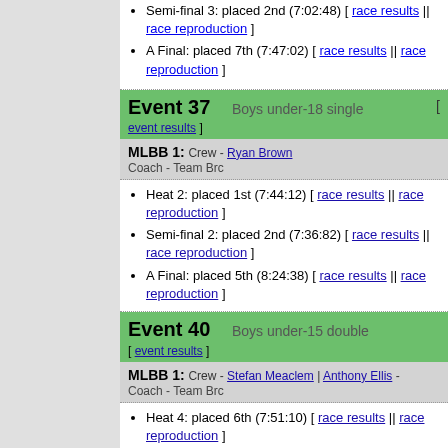Semi-final 3: placed 2nd (7:02:48) [ race results || race reproduction ]
A Final: placed 7th (7:47:02) [ race results || race reproduction ]
Event 37   Boys under-18 single  [ event results ]
MLBB 1: Crew - Ryan Brown
Coach - Team Brc
Heat 2: placed 1st (7:44:12) [ race results || race reproduction ]
Semi-final 2: placed 2nd (7:36:82) [ race results || race reproduction ]
A Final: placed 5th (8:24:38) [ race results || race reproduction ]
Event 40   Boys under-15 double  [ event results ]
MLBB 1: Crew - Stefan Meaclem | Anthony Ellis
Coach - Team Brc
Heat 4: placed 6th (7:51:10) [ race results || race reproduction ]
Semi-final 1: placed 1st (7:28:74) [ race results || race reproduction ]